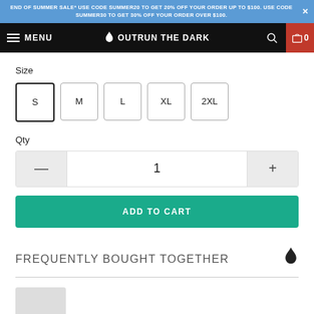END OF SUMMER SALE* USE CODE SUMMER20 TO GET 20% OFF YOUR ORDER UP TO $100. USE CODE SUMMER30 TO GET 30% OFF YOUR ORDER OVER $100.
MENU  OUTRUN THE DARK  [search] [cart 0]
Size
S  M  L  XL  2XL
Qty
1
ADD TO CART
FREQUENTLY BOUGHT TOGETHER